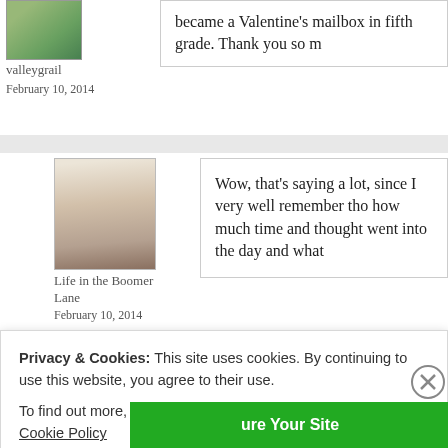[Figure (photo): Avatar photo of valleygrail commenter, partially visible at top]
valleygrail
February 10, 2014
became a Valentine's mailbox in fifth grade. Thank you so m
[Figure (photo): Black and white avatar photo of Life in the Boomer Lane commenter]
Life in the Boomer Lane
February 10, 2014
Wow, that's saying a lot, since I very well remember tho how much time and thought went into the day and what
[Figure (photo): Avatar photo of Lynne Spreen commenter, woman with short gray hair]
Lynne Spreen
Back atcha, girlfriend.
Privacy & Cookies: This site uses cookies. By continuing to use this website, you agree to their use.
To find out more, including how to control cookies, see here: Cookie Policy
Close and accept
ure Your Site